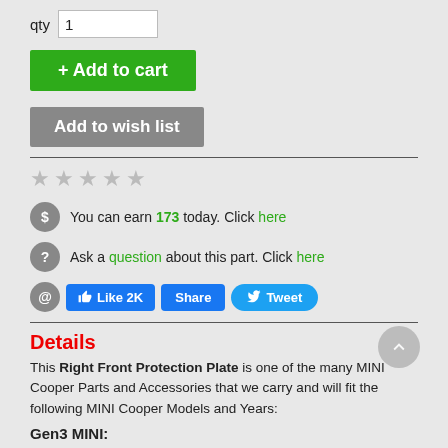qty 1
+ Add to cart
Add to wish list
★★★★★ (empty stars)
You can earn 173 today. Click here
Ask a question about this part. Click here
Like 2K  Share  Tweet
Details
This Right Front Protection Plate is one of the many MINI Cooper Parts and Accessories that we carry and will fit the following MINI Cooper Models and Years:
Gen3 MINI:
F54 MINI Cooper Clubman: 2016, 2017, 2018, 2019, 2020